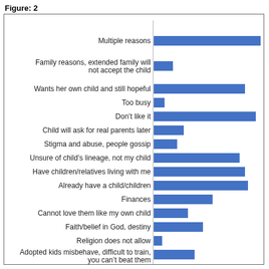Figure: 2
[Figure (bar-chart): ]